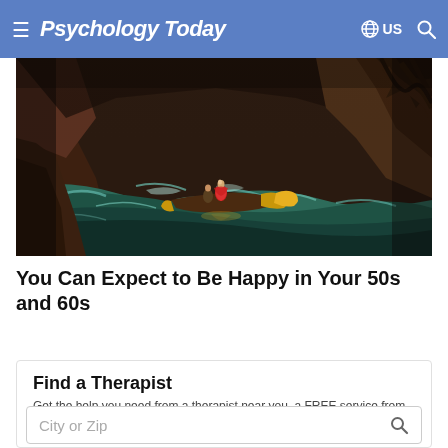Psychology Today  US
[Figure (illustration): Classical painting depicting a figure in a red dress on a golden boat navigating turbulent dark green waters, with rocky cliffs and dramatic scenery in the background.]
You Can Expect to Be Happy in Your 50s and 60s
Find a Therapist
Get the help you need from a therapist near you–a FREE service from Psychology Today.
City or Zip